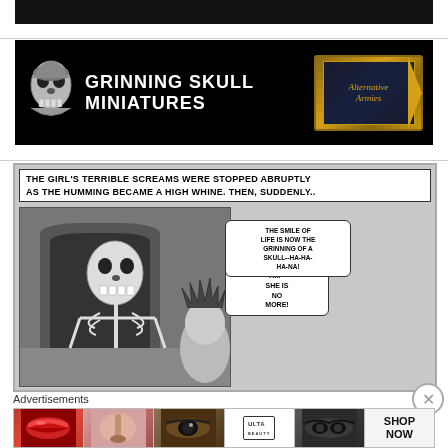[Figure (illustration): Dark top banner strip (partial advertisement)]
[Figure (logo): Grinning Skull Miniatures advertisement banner on black background with skull logo on left and Alternative Armies gold badge on right]
[Figure (illustration): Vintage horror comic panel showing a skeleton in a doorway with speech bubbles. Text at top reads 'THE GIRL'S TERRIBLE SCREAMS WERE STOPPED ABRUPTLY AS THE HUMMING BECAME A HIGH WHINE. THEN, SUDDENLY...' Speech bubbles: 'AIII-- SHE IS NO MORE!' and 'THE SMILE OF LIFE IS NOW THE GRINNING OF A SKULL--HA-HA-HA-NA!']
Advertisements
[Figure (photo): ULTA Beauty advertisement strip showing close-ups of lips with lipstick, makeup brush, eye with dramatic makeup, ULTA logo, eyes, and SHOP NOW text]